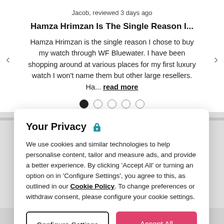Jacob, reviewed 3 days ago
Hamza Hrimzan Is The Single Reason I...
Hamza Hrimzan is the single reason I chose to buy my watch through WF Bluewater. I have been shopping around at various places for my first luxury watch I won't name them but other large resellers. Ha... read more
[Figure (other): Carousel navigation dots: 5 dots, first one filled black, rest empty circles]
Your Privacy
We use cookies and similar technologies to help personalise content, tailor and measure ads, and provide a better experience. By clicking 'Accept All' or turning an option on in 'Configure Settings', you agree to this, as outlined in our Cookie Policy. To change preferences or withdraw consent, please configure your cookie settings.
Configure Settings
Accept All